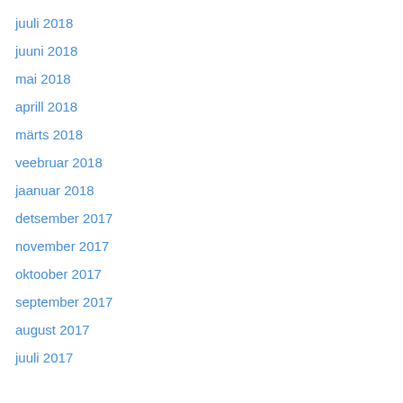juuli 2018
juuni 2018
mai 2018
aprill 2018
märts 2018
veebruar 2018
jaanuar 2018
detsember 2017
november 2017
oktoober 2017
september 2017
august 2017
juuli 2017